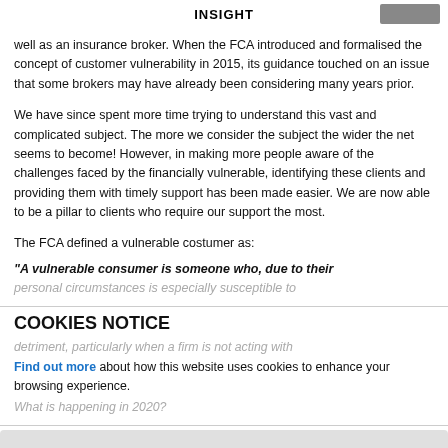INSIGHT
well as an insurance broker. When the FCA introduced and formalised the concept of customer vulnerability in 2015, its guidance touched on an issue that some brokers may have already been considering many years prior.
We have since spent more time trying to understand this vast and complicated subject. The more we consider the subject the wider the net seems to become! However, in making more people aware of the challenges faced by the financially vulnerable, identifying these clients and providing them with timely support has been made easier. We are now able to be a pillar to clients who require our support the most.
The FCA defined a vulnerable costumer as:
“A vulnerable consumer is someone who, due to their personal circumstances is especially susceptible to detriment, particularly when a firm is not acting with appropriate levels of care.”
COOKIES NOTICE
Find out more about how this website uses cookies to enhance your browsing experience.
What is happening in 2020?